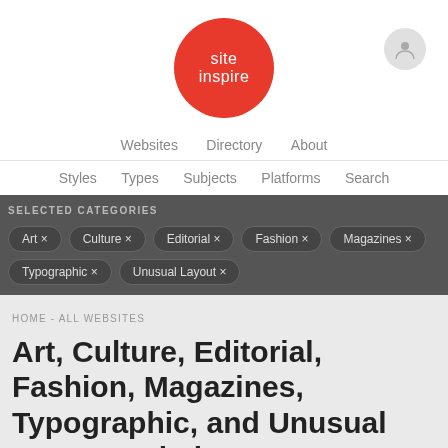[Figure (logo): site inspire red circle logo with white text]
Websites  Directory  About
Styles  Types  Subjects  Platforms  Search
SELECTED CATEGORIES
Art ×
Culture ×
Editorial ×
Fashion ×
Magazines ×
Typographic ×
Unusual Layout ×
HOME - ALL WEBSITES
Art, Culture, Editorial, Fashion, Magazines, Typographic, and Unusual Layout websites